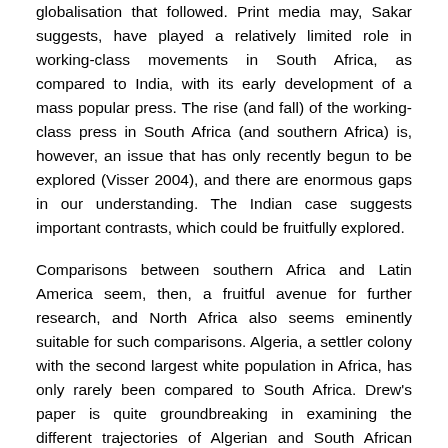globalisation that followed. Print media may, Sakar suggests, have played a relatively limited role in working-class movements in South Africa, as compared to India, with its early development of a mass popular press. The rise (and fall) of the working-class press in South Africa (and southern Africa) is, however, an issue that has only recently begun to be explored (Visser 2004), and there are enormous gaps in our understanding. The Indian case suggests important contrasts, which could be fruitfully explored.
Comparisons between southern Africa and Latin America seem, then, a fruitful avenue for further research, and North Africa also seems eminently suitable for such comparisons. Algeria, a settler colony with the second largest white population in Africa, has only rarely been compared to South Africa. Drew's paper is quite groundbreaking in examining the different trajectories of Algerian and South African Communism. Drew steers a path that avoids the simple dichotomy of domination by, or autonomy from, Moscow, and stresses the importance of the timing of the implementation of sectarian New Line policies in the late 1920s in each country, the different ways in which the policies were understood and implemented, and the way in which the local context conditioned the ability of communists to organise in the rural areas. Such comparisons could be extended to other periods of left and labour